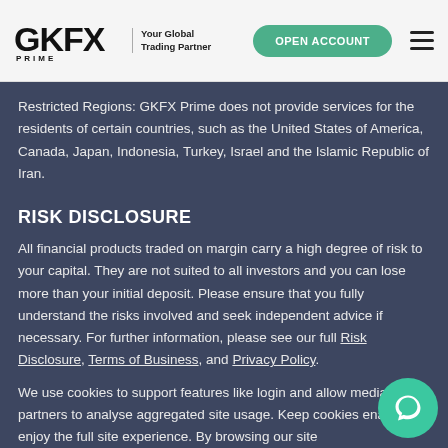GKFX | Your Global Trading Partner | OPEN ACCOUNT
Restricted Regions: GKFX Prime does not provide services for the residents of certain countries, such as the United States of America, Canada, Japan, Indonesia, Turkey, Israel and the Islamic Republic of Iran.
RISK DISCLOSURE
All financial products traded on margin carry a high degree of risk to your capital. They are not suited to all investors and you can lose more than your initial deposit. Please ensure that you fully understand the risks involved and seek independent advice if necessary. For further information, please see our full Risk Disclosure, Terms of Business, and Privacy Policy.
We use cookies to support features like login and allow media partners to analyse aggregated site usage. Keep cookies enabled to enjoy the full site experience. By browsing our site